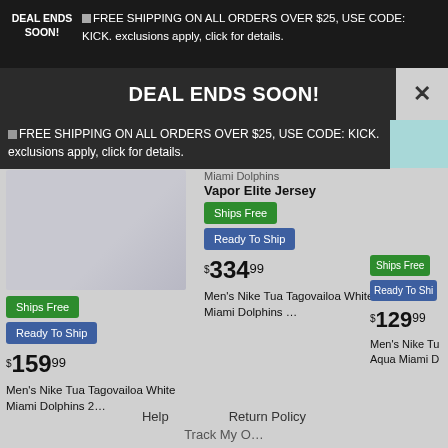DEAL ENDS SOON! FREE SHIPPING ON ALL ORDERS OVER $25, USE CODE: KICK. exclusions apply, click for details.
DEAL ENDS SOON!
FREE SHIPPING ON ALL ORDERS OVER $25, USE CODE: KICK. exclusions apply, click for details.
[Figure (screenshot): Product listing card 1: Men's Nike Tua Tagovailoa White Miami Dolphins jersey, $159.99, Ships Free, Ready To Ship]
[Figure (screenshot): Product listing card 2: Men's Nike Tua Tagovailoa White Miami Dolphins Vapor Elite Jersey, $334.99, Ships Free, Ready To Ship]
[Figure (screenshot): Product listing card 3 (partial): Men's Nike Tu Aqua Miami D, $129.99, Ships Free, Ready To Ship]
Help    Return Policy
Track My O...